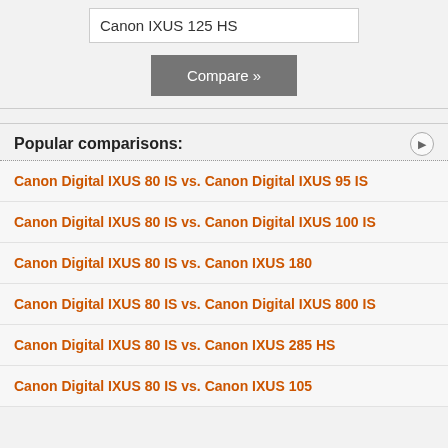Canon IXUS 125 HS
Compare »
Popular comparisons:
Canon Digital IXUS 80 IS vs. Canon Digital IXUS 95 IS
Canon Digital IXUS 80 IS vs. Canon Digital IXUS 100 IS
Canon Digital IXUS 80 IS vs. Canon IXUS 180
Canon Digital IXUS 80 IS vs. Canon Digital IXUS 800 IS
Canon Digital IXUS 80 IS vs. Canon IXUS 285 HS
Canon Digital IXUS 80 IS vs. Canon IXUS 105